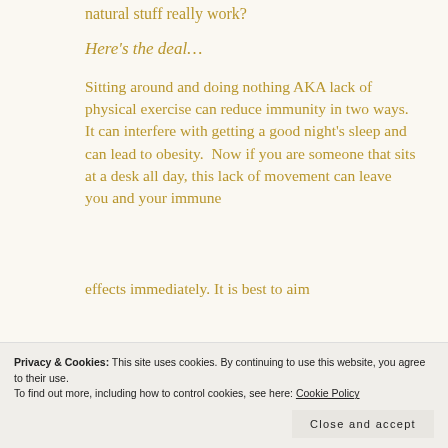natural stuff really work?
Here's the deal…
Sitting around and doing nothing AKA lack of physical exercise can reduce immunity in two ways. It can interfere with getting a good night's sleep and can lead to obesity.  Now if you are someone that sits at a desk all day, this lack of movement can leave you and your immune
effects immediately. It is best to aim
Privacy & Cookies: This site uses cookies. By continuing to use this website, you agree to their use. To find out more, including how to control cookies, see here: Cookie Policy
Close and accept